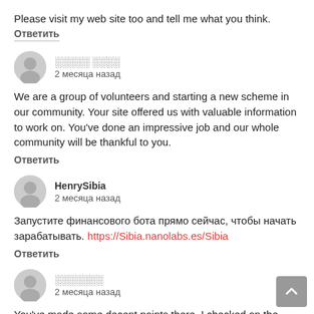Please visit my web site too and tell me what you think.
Ответить
░░░░░ ░░░░
2 месяца назад
We are a group of volunteers and starting a new scheme in our community. Your site offered us with valuable information to work on. You've done an impressive job and our whole community will be thankful to you.
Ответить
HenrySibia
2 месяца назад
Запустите финансового бота прямо сейчас, чтобы начать зарабатывать. https://Sibia.nanolabs.es/Sibia
Ответить
░░░░░░░
2 месяца назад
You've made some decent points there. I checked on the internet for